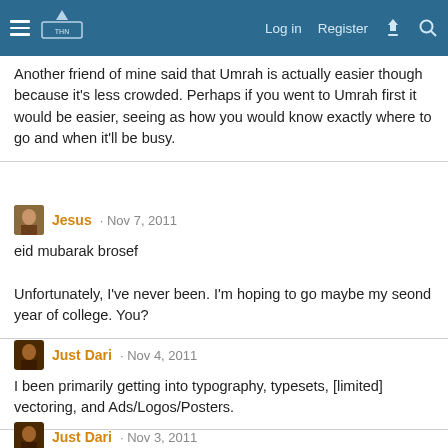Log in  Register
Another friend of mine said that Umrah is actually easier though because it's less crowded. Perhaps if you went to Umrah first it would be easier, seeing as how you would know exactly where to go and when it'll be busy.
Jesus · Nov 7, 2011
eid mubarak brosef

Unfortunately, I've never been. I'm hoping to go maybe my seond year of college. You?
Just Dari · Nov 4, 2011
I been primarily getting into typography, typesets, [limited] vectoring, and Ads/Logos/Posters.
Just Dari · Nov 3, 2011
DAT GOOGLE FFFFFFFFFAWK YEAH!